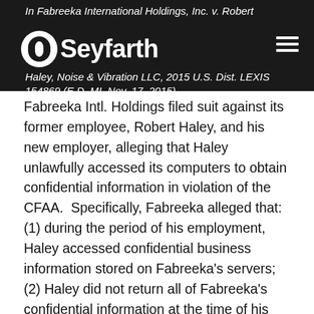In Fabreeka International Holdings, Inc. v. Robert Haley, Noise & Vibration LLC, 2015 U.S. Dist. LEXIS 154869 (E.D. MI, Nov. 17, 2015),
Fabreeka Intl. Holdings filed suit against its former employee, Robert Haley, and his new employer, alleging that Haley unlawfully accessed its computers to obtain confidential information in violation of the CFAA.  Specifically, Fabreeka alleged that: (1) during the period of his employment, Haley accessed confidential business information stored on Fabreeka's servers; (2) Haley did not return all of Fabreeka's confidential information at the time of his resignation; and (3) Haley authored or assisted in authoring proposals for his new employer using Fabreeka's confidential information for the purpose of undercutting Fabreeka's bids...